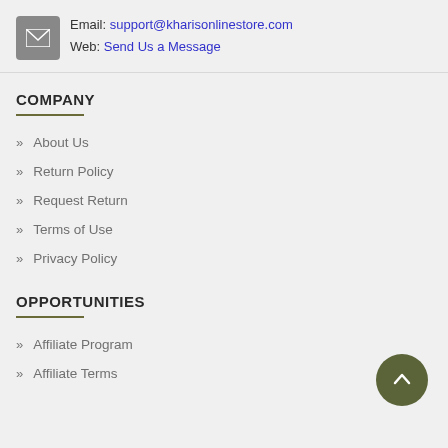Email: support@kharisonlinestore.com
Web: Send Us a Message
COMPANY
» About Us
» Return Policy
» Request Return
» Terms of Use
» Privacy Policy
OPPORTUNITIES
» Affiliate Program
» Affiliate Terms